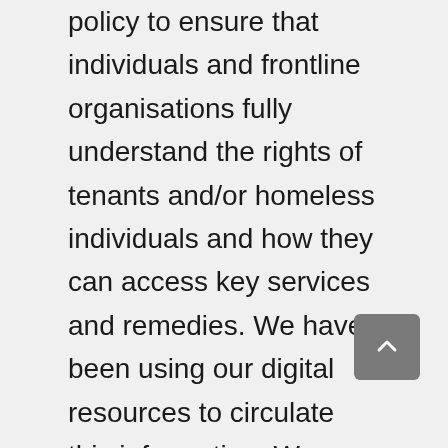policy to ensure that individuals and frontline organisations fully understand the rights of tenants and/or homeless individuals and how they can access key services and remedies. We have been using our digital resources to circulate this information. We recently published a guide on the new Emergency Measures in the Public Interest (Covid-19) Act 2020 and how this affects notices of termination, rent and evictions. We provided analysis and proposed amendments during the passage of the legislation. We have also been working on a 'Know Your Rights' toolkit which is intended to